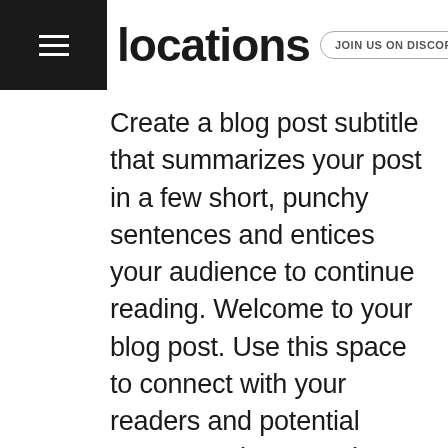locations in town
JOIN US ON DISCORD
Create a blog post subtitle that summarizes your post in a few short, punchy sentences and entices your audience to continue reading. Welcome to your blog post. Use this space to connect with your readers and potential customers in a way that's current and interesting. Think of it as an ongoing conversation where you can share updates about business, trends, news, and more. Do you have a design in mind for your blog? Whether you prefer a trendy postcard look or you're going f